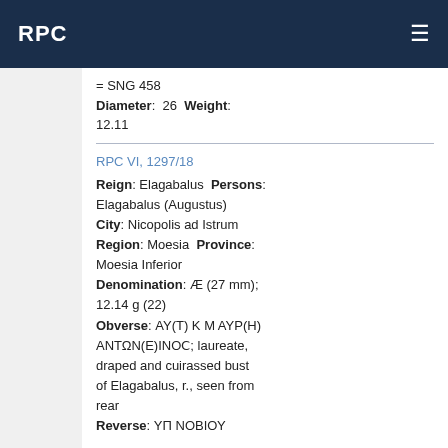RPC
= SNG 458
Diameter: 26 Weight:
12.11
RPC VI, 1297/18
Reign: Elagabalus Persons:
Elagabalus (Augustus)
City: Nicopolis ad Istrum
Region: Moesia Province:
Moesia Inferior
Denomination: Æ (27 mm); 12.14 g (22)
Obverse: ΑΥ(Τ) Κ Μ ΑΥΡ(Η) ΑΝΤΩΝ(Ε)ΙΝΟϹ; laureate, draped and cuirassed bust of Elagabalus, r., seen from rear
Reverse: ΥΠ ΝΟΒΙΟΥ